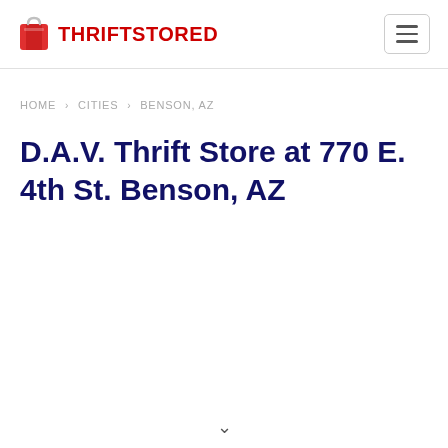THRIFTSTORED
HOME › CITIES › BENSON, AZ
D.A.V. Thrift Store at 770 E. 4th St. Benson, AZ